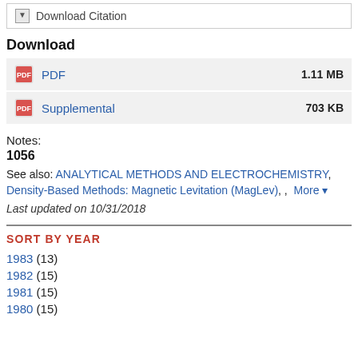Download Citation
Download
PDF  1.11 MB
Supplemental  703 KB
Notes:
1056
See also: ANALYTICAL METHODS AND ELECTROCHEMISTRY, Density-Based Methods: Magnetic Levitation (MagLev), ,  More ▾
Last updated on 10/31/2018
SORT BY YEAR
1983 (13)
1982 (15)
1981 (15)
1980 (15)